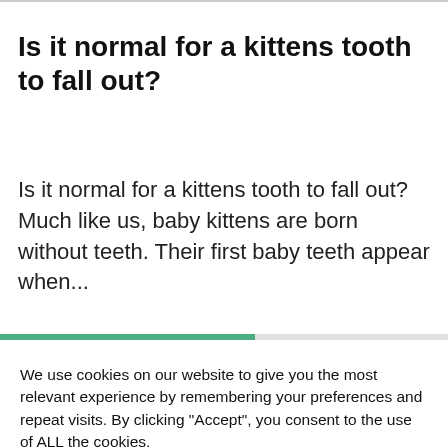Is it normal for a kittens tooth to fall out?
Is it normal for a kittens tooth to fall out? Much like us, baby kittens are born without teeth. Their first baby teeth appear when...
We use cookies on our website to give you the most relevant experience by remembering your preferences and repeat visits. By clicking “Accept”, you consent to the use of ALL the cookies. Do not sell my personal information.